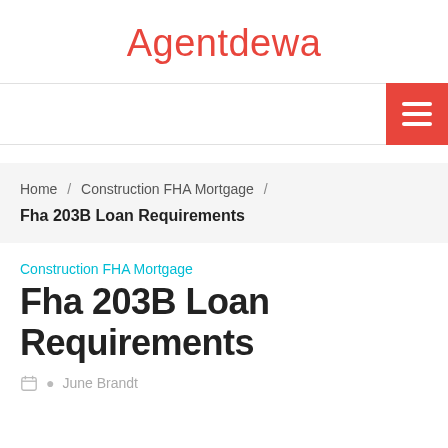Agentdewa
[Figure (other): Red hamburger menu button with three white horizontal lines]
Home / Construction FHA Mortgage / Fha 203B Loan Requirements
Construction FHA Mortgage
Fha 203B Loan Requirements
June Brandt